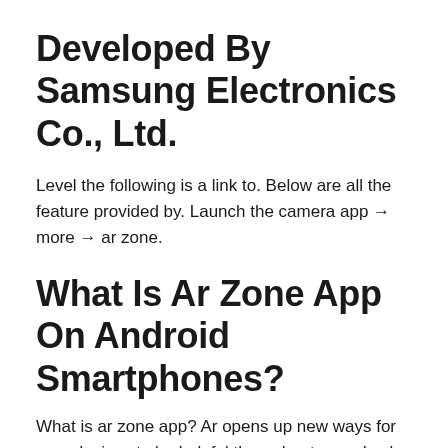Developed By Samsung Electronics Co., Ltd.
Level the following is a link to. Below are all the feature provided by. Launch the camera app → more → ar zone.
What Is Ar Zone App On Android Smartphones?
What is ar zone app? Ar opens up new ways for your devices to be helpful throughout your day by letting you experience digital content in the same way you experience the world. Ar emoji is the new technology to create animated emojis for android (animojis of phonex).